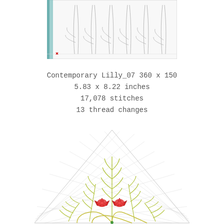[Figure (illustration): Embroidery design preview showing outline/template of tall lily stems with elongated leaves, viewed from software editor with grid lines visible. Small red cross marker at bottom left of design area.]
Contemporary Lilly_07 360 x 150
5.83 x 8.22 inches
17,078 stitches
13 thread changes
[Figure (illustration): Embroidery design showing a triangular lace/bobbin-lace background pattern with yellow-green fern/leaf sprigs and two red star-shaped flowers (lilies) in the foreground, plus decorative scalloped arches at the base.]